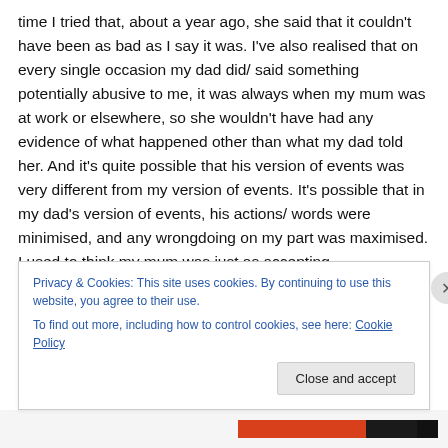time I tried that, about a year ago, she said that it couldn't have been as bad as I say it was. I've also realised that on every single occasion my dad did/ said something potentially abusive to me, it was always when my mum was at work or elsewhere, so she wouldn't have had any evidence of what happened other than what my dad told her. And it's quite possible that his version of events was very different from my version of events. It's possible that in my dad's version of events, his actions/ words were minimised, and any wrongdoing on my part was maximised. I used to think my mum was just as accepting
Privacy & Cookies: This site uses cookies. By continuing to use this website, you agree to their use.
To find out more, including how to control cookies, see here: Cookie Policy